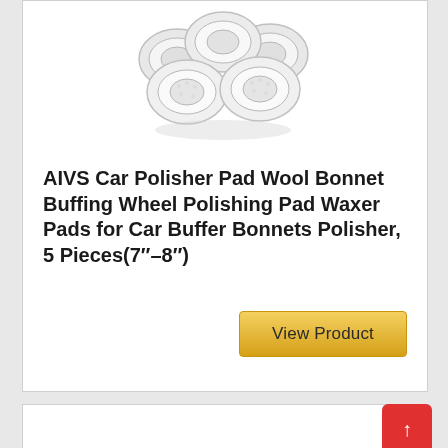[Figure (photo): Five white wool buffing/polishing pads arranged in a cluster on a white background]
AIVS Car Polisher Pad Wool Bonnet Buffing Wheel Polishing Pad Waxer Pads for Car Buffer Bonnets Polisher, 5 Pieces(7"-8")
View Product